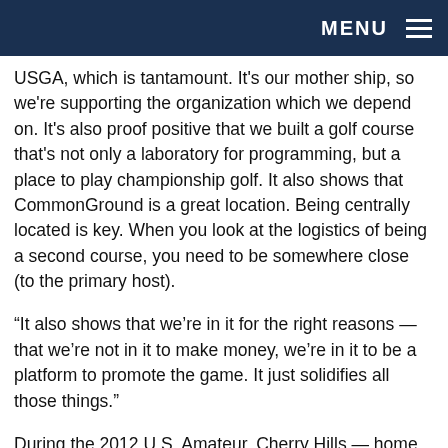MENU
USGA, which is tantamount. It's our mother ship, so we're supporting the organization which we depend on. It's also proof positive that we built a golf course that's not only a laboratory for programming, but a place to play championship golf. It also shows that CommonGround is a great location. Being centrally located is key. When you look at the logistics of being a second course, you need to be somewhere close (to the primary host).
“It also shows that we’re in it for the right reasons — that we’re not in it to make money, we’re in it to be a platform to promote the game. It just solidifies all those things.”
During the 2012 U.S. Amateur, Cherry Hills — home to three U.S. Opens, two PGA Championships and nine USGA championships overall to date — actually yielded a lower score during stroke play than did CommonGround. Bobby